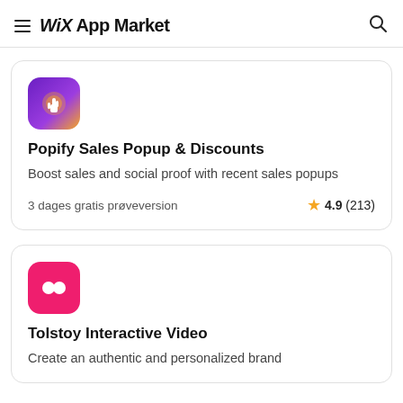WiX App Market
[Figure (screenshot): Popify Sales Popup & Discounts app icon — purple/violet gradient background with orange glowing finger pointer icon]
Popify Sales Popup & Discounts
Boost sales and social proof with recent sales popups
3 dages gratis prøveversion
4.9 (213)
[Figure (screenshot): Tolstoy Interactive Video app icon — hot pink/magenta background with two white circle speech bubble icons]
Tolstoy Interactive Video
Create an authentic and personalized brand